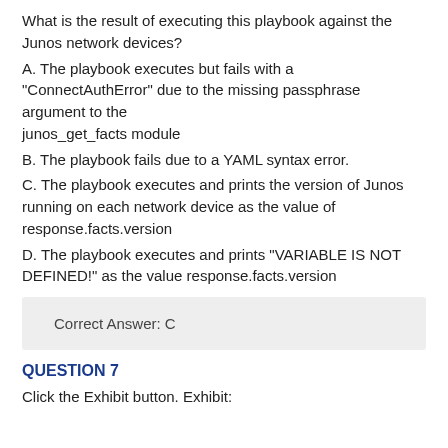What is the result of executing this playbook against the Junos network devices?
A. The playbook executes but fails with a "ConnectAuthError" due to the missing passphrase argument to the junos_get_facts module
B. The playbook fails due to a YAML syntax error.
C. The playbook executes and prints the version of Junos running on each network device as the value of response.facts.version
D. The playbook executes and prints "VARIABLE IS NOT DEFINED!" as the value response.facts.version
Correct Answer: C
QUESTION 7
Click the Exhibit button. Exhibit: